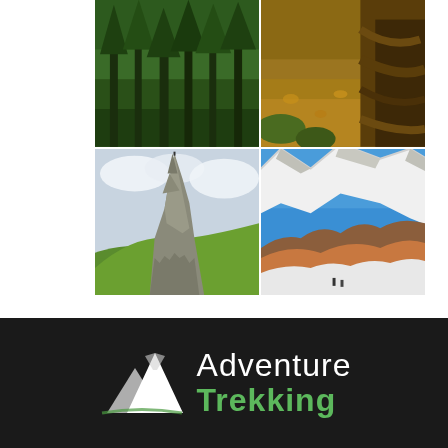[Figure (photo): A 2x2 grid of four nature/outdoor photos: top-left shows a dense green forest with tall evergreen trees; top-right shows a forest trail with tree roots and earthy ground; bottom-left shows a dramatic rocky pinnacle formation on a green hillside under cloudy sky; bottom-right shows snow-capped mountain peaks with rocky terrain and two trekkers visible.]
[Figure (logo): Adventure Trekking logo on a dark/black background. White mountain silhouette icon on the left. Text on the right: 'Adventure' in white and 'Trekking' in green bold lettering.]